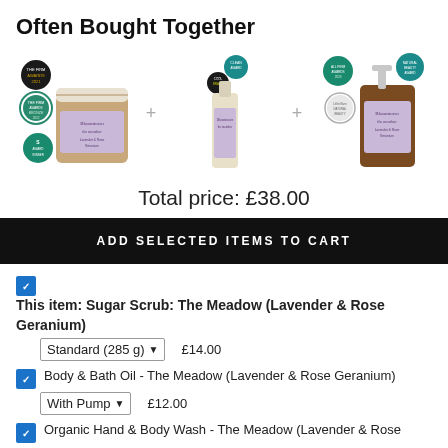Often Bought Together
[Figure (photo): Three product images arranged in a row with plus signs between them: Sugar Scrub jar, Body & Bath Oil bottle, Organic Hand & Body Wash bottle]
Total price: £38.00
ADD SELECTED ITEMS TO CART
This item: Sugar Scrub: The Meadow (Lavender & Rose Geranium) Standard (285 g) £14.00
Body & Bath Oil - The Meadow (Lavender & Rose Geranium) With Pump £12.00
Organic Hand & Body Wash - The Meadow (Lavender & Rose